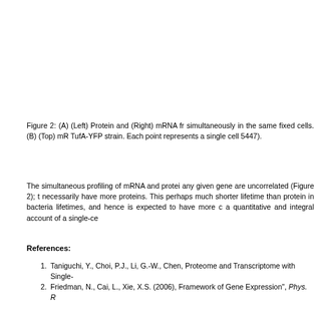Figure 2: (A) (Left) Protein and (Right) mRNA fr simultaneously in the same fixed cells. (B) (Top) mR TufA-YFP strain. Each point represents a single cell 5447).
The simultaneous profiling of mRNA and protei any given gene are uncorrelated (Figure 2); t necessarily have more proteins. This perhaps much shorter lifetime than protein in bacteria lifetimes, and hence is expected to have more c a quantitative and integral account of a single-ce
References:
1. Taniguchi, Y., Choi, P.J., Li, G.-W., Chen, Proteome and Transcriptome with Single-
2. Friedman, N., Cai, L., Xie, X.S. (2006), Framework of Gene Expression", Phys. R